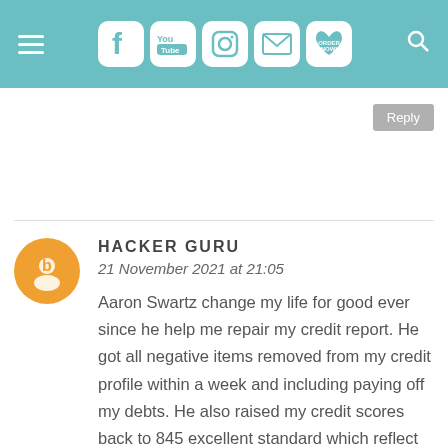Navigation bar with hamburger menu, social icons (Facebook, YouTube, Instagram, Email, Order Now), and search icon
Reply
HACKER GURU
21 November 2021 at 21:05

Aaron Swartz change my life for good ever since he help me repair my credit report. He got all negative items removed from my credit profile within a week and including paying off my debts. He also raised my credit scores back to 845 excellent standard which reflect in all credit bureaus report without no traces. CONTACT address ;